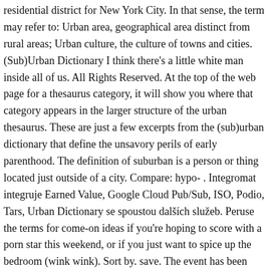residential district for New York City. In that sense, the term may refer to: Urban area, geographical area distinct from rural areas; Urban culture, the culture of towns and cities. (Sub)Urban Dictionary I think there’s a little white man inside all of us. All Rights Reserved. At the top of the web page for a thesaurus category, it will show you where that category appears in the larger structure of the urban thesaurus. These are just a few excerpts from the (sub)urban dictionary that define the unsavory perils of early parenthood. The definition of suburban is a person or thing located just outside of a city. Compare: hypo- . Integromat integruje Earned Value, Google Cloud Pub/Sub, ISO, Podio, Tars, Urban Dictionary se spoustou dalších služeb. Peruse the terms for come-on ideas if you're hoping to score with a porn star this weekend, or if you just want to spice up the bedroom (wink wink). Sort by. save. The event has been dubbed The Fappening, a reference to a term the Urban Dictionary describes as “the onomatopoeic representation of masturbation.” Some of the pics